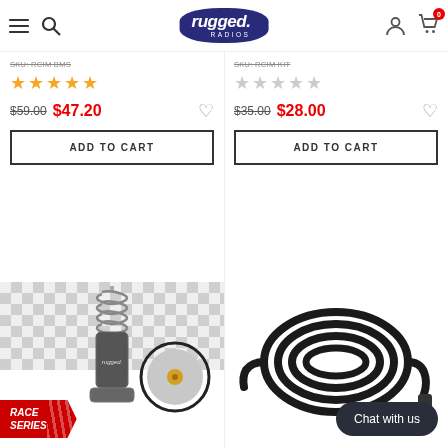Rugged Radios navigation header with hamburger menu, search, logo, user and cart icons
SKU: RCIM BMS
SKU: RCIM KIT
[Figure (other): Five gold filled stars rating]
[Figure (other): Five empty/grey stars rating]
$59.00  $47.20
$35.00  $28.00
ADD TO CART
ADD TO CART
[Figure (photo): Rugged Radios antenna product on checkered background with Race Series badge]
[Figure (photo): Coiled black cable/wire product on white background]
Chat with us